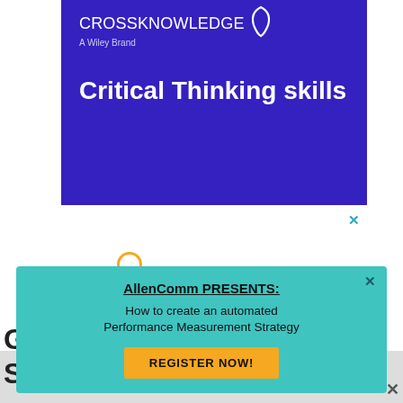[Figure (illustration): CrossKnowledge (A Wiley Brand) course cover with dark blue/purple background showing 'Critical Thinking skills' in bold white text and a small teardrop/droplet logo icon]
AllenComm PRESENTS: How to create an automated Performance Measurement Strategy
REGISTER NOW!
G... St...